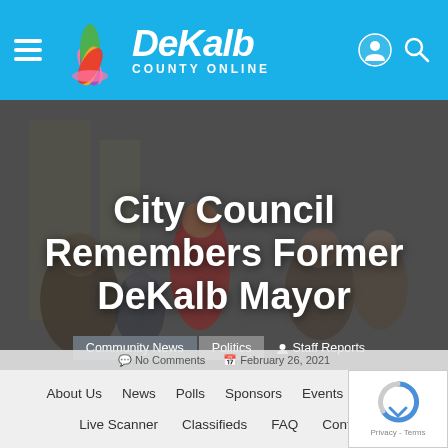DeKalb County Online
[Figure (screenshot): Hero image of a city council meeting with people seated in a room, dimmed and overlaid with large white text]
City Council Remembers Former DeKalb Mayor
Community News
Politics
Staff Reports
No Comments   February 26, 2021
About Us   News   Polls   Sponsors   Events   Directories   Live Scanner   Classifieds   FAQ   Contact